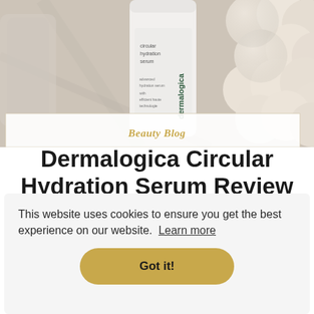[Figure (photo): Photo of a Dermalogica Circular Hydration Serum bottle, white cylindrical container with dark green text, placed on a marble surface next to decorative cream-colored spheres/balls arranged in a cluster]
Beauty Blog
Dermalogica Circular Hydration Serum Review
This website uses cookies to ensure you get the best experience on our website.  Learn more
Got it!